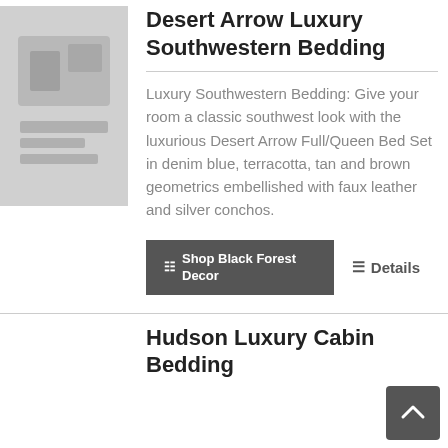[Figure (photo): Product thumbnail image of Desert Arrow Luxury Southwestern Bedding, shown in muted gray tones]
Desert Arrow Luxury Southwestern Bedding
Luxury Southwestern Bedding: Give your room a classic southwest look with the luxurious Desert Arrow Full/Queen Bed Set in denim blue, terracotta, tan and brown geometrics embellished with faux leather and silver conchos.
Shop Black Forest Decor
Details
Hudson Luxury Cabin Bedding